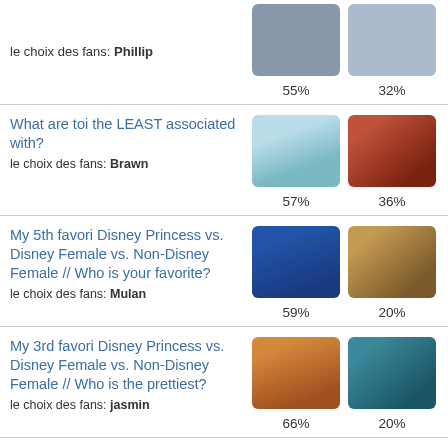le choix des fans: Phillip — 55%  32%
What are toi the LEAST associated with?
le choix des fans: Brawn — 57%  36%
My 5th favori Disney Princess vs. Disney Female vs. Non-Disney Female // Who is your favorite?
le choix des fans: Mulan — 59%  20%
My 3rd favori Disney Princess vs. Disney Female vs. Non-Disney Female // Who is the prettiest?
le choix des fans: jasmin — 66%  20%
Which classic princess is prettiest?
le choix des fans: Aurora — 52%  32%
Which of my précédant Mottos do toi